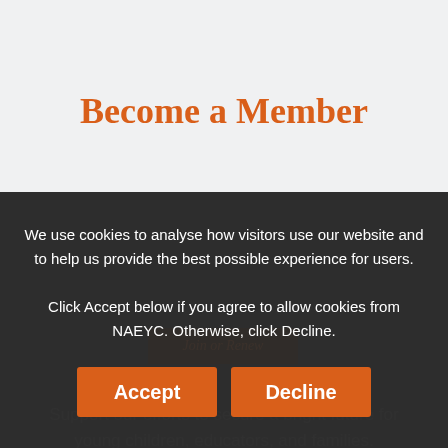Become a Member
Support our efforts to secure a bright future for young children, educators, and families.
Join or Renew
We use cookies to analyse how visitors use our website and to help us provide the best possible experience for users.
Click Accept below if you agree to allow cookies from NAEYC. Otherwise, click Decline.
Accept
Decline